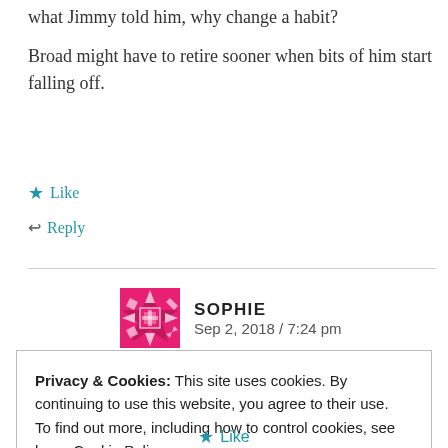what Jimmy told him, why change a habit?
Broad might have to retire sooner when bits of him start falling off.
★ Like
↩ Reply
SOPHIE
Sep 2, 2018 / 7:24 pm
Privacy & Cookies: This site uses cookies. By continuing to use this website, you agree to their use.
To find out more, including how to control cookies, see here: Cookie Policy
Close and accept
★ Like